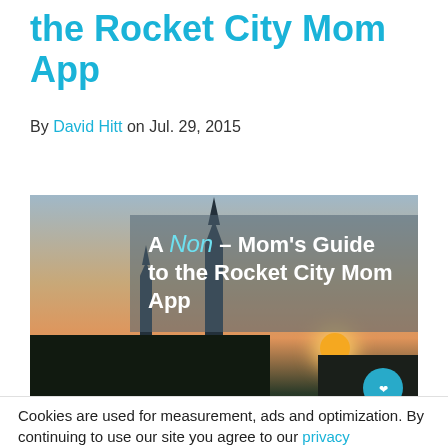the Rocket City Mom App
By David Hitt on Jul. 29, 2015
[Figure (photo): Photo of rocket silhouettes at sunset with text overlay reading 'A Non- Mom's Guide to the Rocket City Mom App' and a Rocket City Mom logo badge in the bottom right corner.]
Cookies are used for measurement, ads and optimization. By continuing to use our site you agree to our privacy